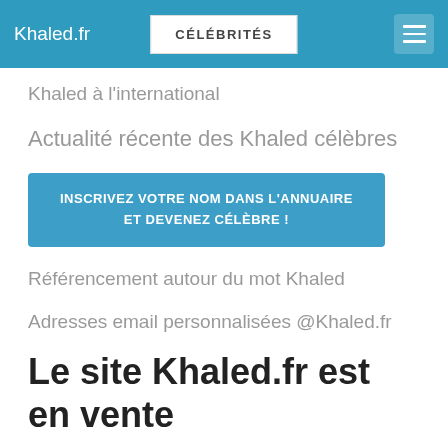Khaled.fr | CÉLÉBRITÉS
Khaled à l'international
Actualité récente des Khaled célèbres
INSCRIVEZ VOTRE NOM DANS L'ANNUAIRE ET DEVENEZ CÉLÈBRE !
Référencement autour du mot Khaled
Adresses email personnalisées @Khaled.fr
Le site Khaled.fr est en vente